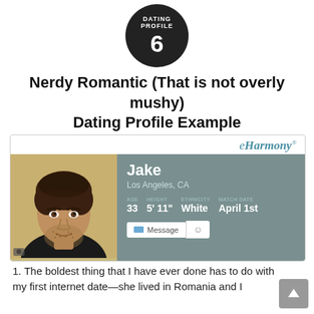[Figure (infographic): Dark circular badge with text 'DATING PROFILE' and number 6]
Nerdy Romantic (That is not overly mushy) Dating Profile Example
[Figure (screenshot): eHarmony profile screenshot showing Jake, Los Angeles CA, Age 33, Height 5'11", Ethnicity White, Match Date April 1st, with Message button]
1. The boldest thing that I have ever done has to do with my first internet date—she lived in Romania and I